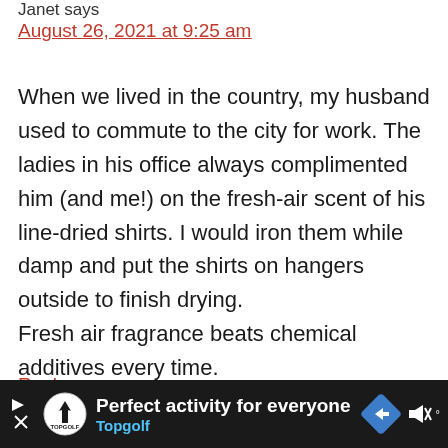Janet says
August 26, 2021 at 9:25 am
When we lived in the country, my husband used to commute to the city for work. The ladies in his office always complimented him (and me!) on the fresh-air scent of his line-dried shirts. I would iron them while damp and put the shirts on hangers outside to finish drying. Fresh air fragrance beats chemical additives every time.
Reply
[Figure (screenshot): Advertisement banner at bottom: dark background with Topgolf logo, text 'Perfect activity for everyone Topgolf', navigation arrow icon, and mute button icon]